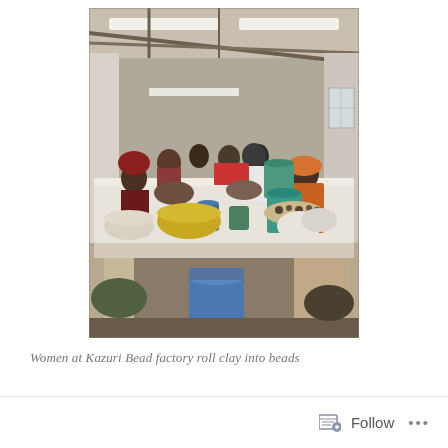[Figure (photo): Women at a long white table in a workshop/factory setting with a metal roof, fluorescent lights, rolling clay into beads. Colorful bowls and mugs on the table. Storage space visible beneath the table with a blue bucket. Multiple women working.]
Women at Kazuri Bead factory roll clay into beads
Follow ...